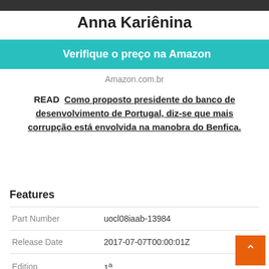[Figure (other): Dark top bar / header image strip]
Anna Kariênina
Verifique o preço na Amazon
Amazon.com.br
READ  Como proposto presidente do banco de desenvolvimento de Portugal, diz-se que mais corrupção está envolvida na manobra do Benfica.
Features
|  |  |
| --- | --- |
| Part Number | uocl08iaab-13984 |
| Release Date | 2017-07-07T00:00:01Z |
| Edition | 1ª |